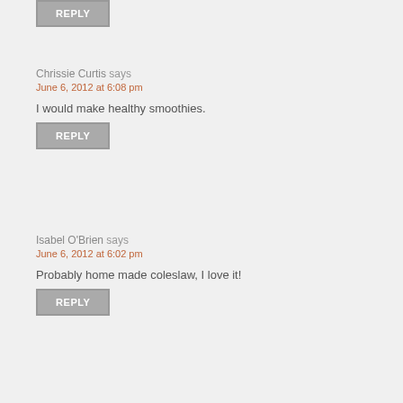REPLY
Chrissie Curtis says
June 6, 2012 at 6:08 pm
I would make healthy smoothies.
REPLY
Isabel O'Brien says
June 6, 2012 at 6:02 pm
Probably home made coleslaw, I love it!
REPLY